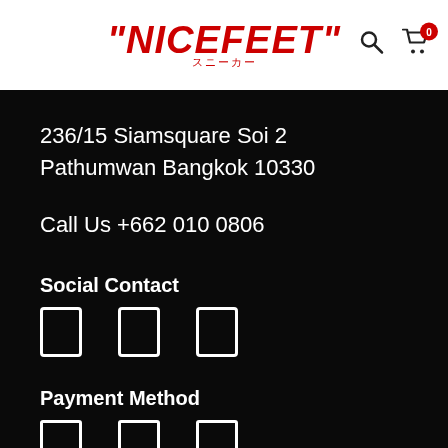"NICEFEET" スニーカー
236/15 Siamsquare Soi 2
Pathumwan Bangkok 10330
Call Us +662 010 0806
Social Contact
[Figure (other): Three social media icon placeholders (empty white-bordered rectangles)]
Payment Method
[Figure (other): Three payment method icon placeholders (empty white-bordered rectangles)]